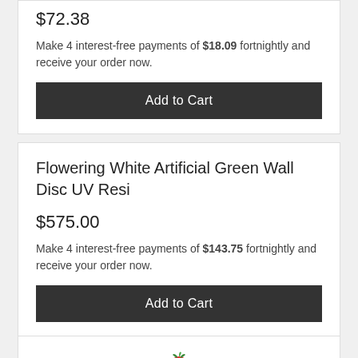$72.38
Make 4 interest-free payments of $18.09 fortnightly and receive your order now.
Add to Cart
Flowering White Artificial Green Wall Disc UV Resi
$575.00
Make 4 interest-free payments of $143.75 fortnightly and receive your order now.
Add to Cart
[Figure (photo): Partial view of a red strawberry product image at the bottom of the page]